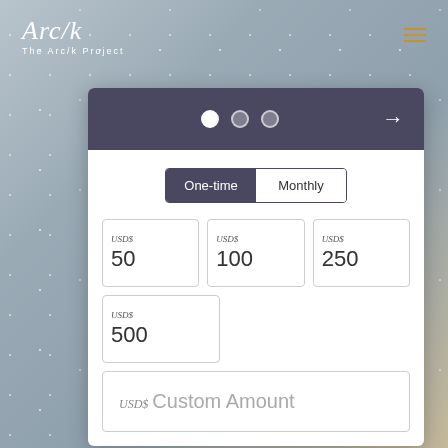[Figure (logo): Arc/k - The Arc/k Project logo in white italic text on grey background]
[Figure (other): Hamburger menu icon with three horizontal orange lines in top right]
[Figure (screenshot): Donation widget UI card with step indicator dots, One-time/Monthly tab toggle, and USD amount options: $50, $100, $250, $500, and Custom Amount input field]